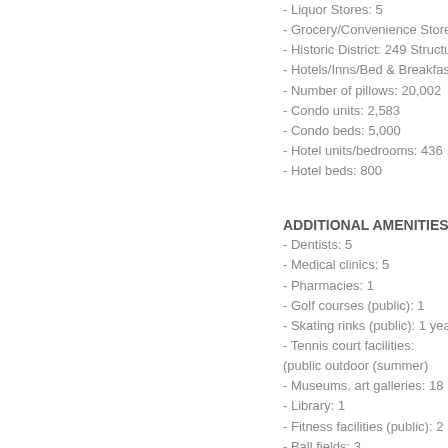- Liquor Stores: 5
- Grocery/Convenience Stores
- Historic District: 249 Structur
- Hotels/Inns/Bed & Breakfasts
- Number of pillows: 20,002
- Condo units: 2,583
- Condo beds: 5,000
- Hotel units/bedrooms: 436
- Hotel beds: 800
ADDITIONAL AMENITIES:
- Dentists: 5
- Medical clinics: 5
- Pharmacies: 1
- Golf courses (public): 1
- Skating rinks (public): 1 year
- Tennis court facilities: (public outdoor (summer)
- Museums, art galleries: 18
- Library: 1
- Fitness facilities (public): 2
- Ball fields: 3
- Soccer fields: 2
- Public Parking Lots: 13